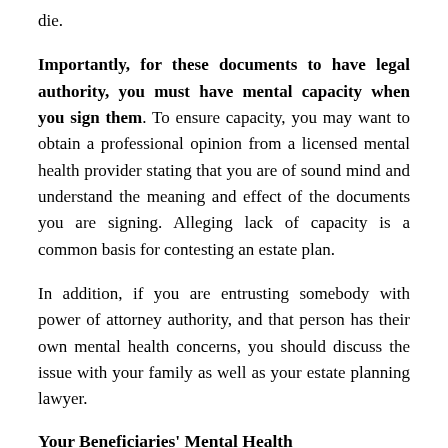die.
Importantly, for these documents to have legal authority, you must have mental capacity when you sign them. To ensure capacity, you may want to obtain a professional opinion from a licensed mental health provider stating that you are of sound mind and understand the meaning and effect of the documents you are signing. Alleging lack of capacity is a common basis for contesting an estate plan.
In addition, if you are entrusting somebody with power of attorney authority, and that person has their own mental health concerns, you should discuss the issue with your family as well as your estate planning lawyer.
Your Beneficiaries' Mental Health
Having beneficiaries who suffer from mental illness presents a different estate planning challenge. You must pass your legacy to them in a way that serves